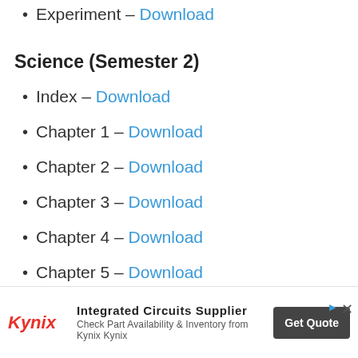Experiment – Download
Science (Semester 2)
Index – Download
Chapter 1 – Download
Chapter 2 – Download
Chapter 3 – Download
Chapter 4 – Download
Chapter 5 – Download
[Figure (screenshot): Advertisement banner for Kynix: Integrated Circuits Supplier. Check Part Availability & Inventory from Kynix Kynix. Get Quote button.]